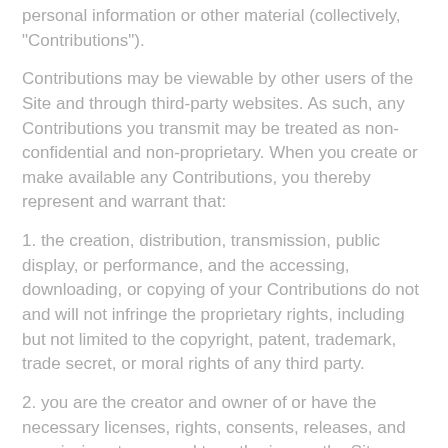personal information or other material (collectively, "Contributions").
Contributions may be viewable by other users of the Site and through third-party websites. As such, any Contributions you transmit may be treated as non-confidential and non-proprietary. When you create or make available any Contributions, you thereby represent and warrant that:
1. the creation, distribution, transmission, public display, or performance, and the accessing, downloading, or copying of your Contributions do not and will not infringe the proprietary rights, including but not limited to the copyright, patent, trademark, trade secret, or moral rights of any third party.
2. you are the creator and owner of or have the necessary licenses, rights, consents, releases, and permissions to use and to authorize us, the Site,